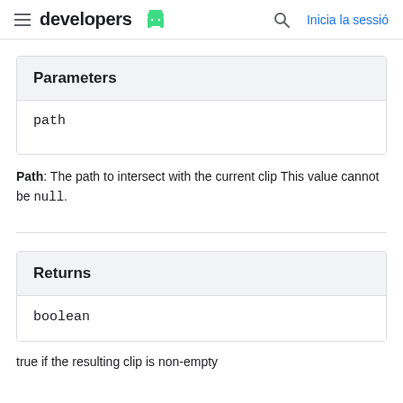≡  developers 🤖   🔍   Inicia la sessió
Parameters
path
Path: The path to intersect with the current clip This value cannot be null.
Returns
boolean
true if the resulting clip is non-empty